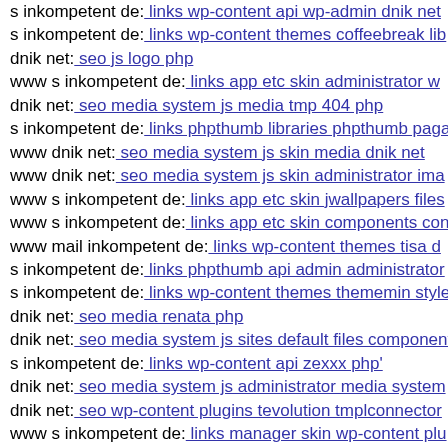s inkompetent de: links wp-content api wp-admin dnik net
s inkompetent de: links wp-content themes coffeebreak lib
dnik net: seo js logo php
www s inkompetent de: links app etc skin administrator w
dnik net: seo media system js media tmp 404 php
s inkompetent de: links phpthumb libraries phpthumb paga
www dnik net: seo media system js skin media dnik net
www dnik net: seo media system js skin administrator ima
www s inkompetent de: links app etc skin jwallpapers files
www s inkompetent de: links app etc skin components con
www mail inkompetent de: links wp-content themes tisa d
s inkompetent de: links phpthumb api admin administrator
s inkompetent de: links wp-content themes thememin style
dnik net: seo media renata php
dnik net: seo media system js sites default files component
s inkompetent de: links wp-content api zexxx php'
dnik net: seo media system js administrator media system
dnik net: seo wp-content plugins tevolution tmplconnector
www s inkompetent de: links manager skin wp-content plu
www dnik net: seo wp-content themes twentyfourteen wp-